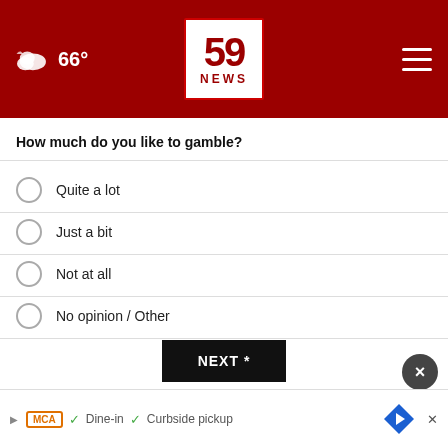[Figure (screenshot): News website header with red background, 59 NEWS logo in center, cloud/temperature icon showing 66° on left, hamburger menu on right]
How much do you like to gamble?
Quite a lot
Just a bit
Not at all
No opinion / Other
NEXT *
* By clicking "NEXT" you agree to the following: We use cookies to track your survey answers. If you would like to continue with this survey, please read and agree to the CivicScience Privacy Policy and Terms of Service
TOP STORIES
[Figure (screenshot): Advertisement bar at bottom with MCA logo, dine-in and curbside pickup options with checkmarks, navigation diamond icon, and close X button]